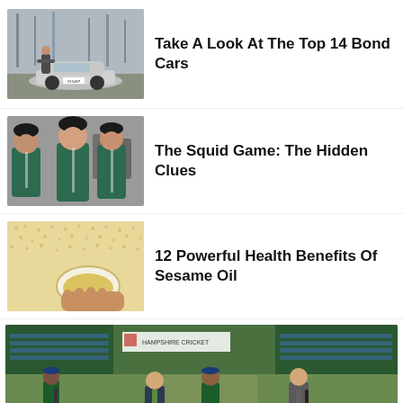[Figure (photo): Man leaning on a silver BMW sports car in an industrial setting]
Take A Look At The Top 14 Bond Cars
[Figure (photo): Three women in green tracksuits from Squid Game]
The Squid Game: The Hidden Clues
[Figure (photo): Sesame seeds and sesame oil in a bowl being held by a hand]
12 Powerful Health Benefits Of Sesame Oil
[Figure (photo): Cricket match toss scene at a stadium with players and officials looking up at a coin]